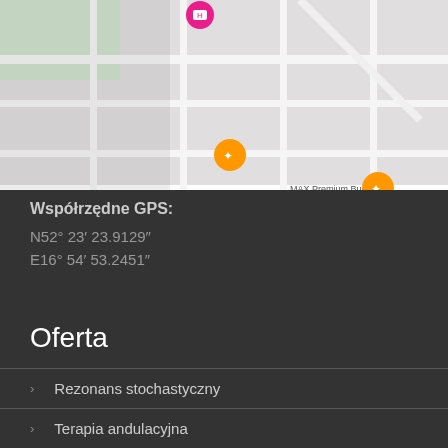[Figure (map): Street map showing WILDA district in Poznań, Poland, with GPS location markers including a pink hotel/accommodation marker and orange food/restaurant markers. Shows street 29 Czerwca 1956 r., Park im. Jana Pa..., with MAX Premium Burgers visible at bottom.]
Współrzędne GPS:
N52° 23′ 23.9129″
E16° 54′ 53.2451″
Oferta
Rezonans stochastyczny
Terapia andulacyjna
Specjalistyczne masaże
Fala uderzeniowa
Taping
Terapia FDM